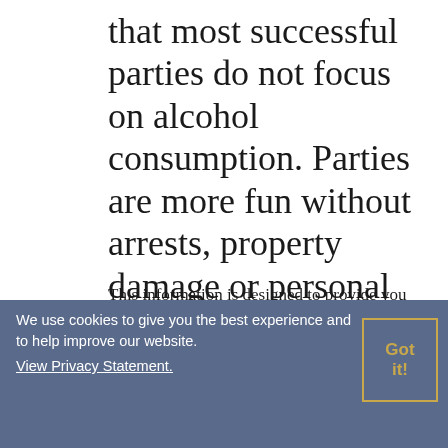that most successful parties do not focus on alcohol consumption. Parties are more fun without arrests, property damage or personal injuries.
This information is designed to provide you with information about the legal consequences of hosting a party and to assist you in making informed choices. You should seriously consider these consequences, because you will bear the responsibility for your choices. The first decision you will make is whether to
We use cookies to give you the best experience and to help improve our website. View Privacy Statement.
Got it!